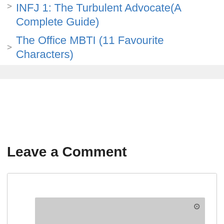INFJ 1: The Turbulent Advocate(A Complete Guide)
The Office MBTI (11 Favourite Characters)
Leave a Comment
[Figure (screenshot): Comment text area with media error overlay showing 'No compatible source was found for this media.']